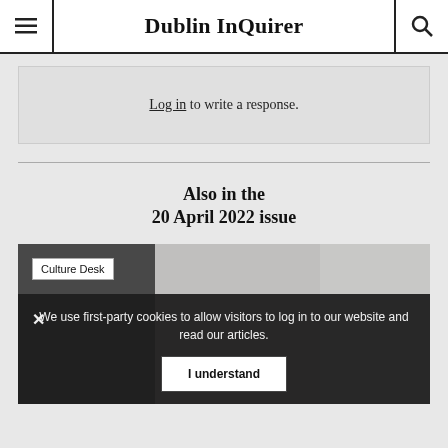Dublin InQuirer
Log in to write a response.
Also in the
20 April 2022 issue
[Figure (photo): Outdoor photo with metal fence/gates and buildings; Culture Desk badge overlay in top-left corner.]
We use first-party cookies to allow visitors to log in to our website and read our articles.
I understand